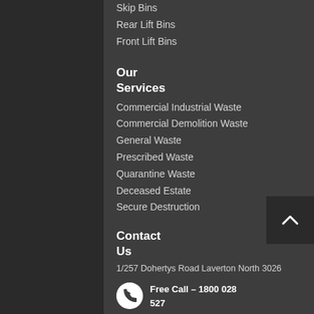Skip Bins
Rear Lift Bins
Front Lift Bins
Our Services
Commercial Industrial Waste
Commercial Demolition Waste
General Waste
Prescribed Waste
Quarantine Waste
Deceased Estate
Secure Destruction
Contact Us
1/257 Dohertys Road Laverton North 3026
Free Call – 1800 028 527